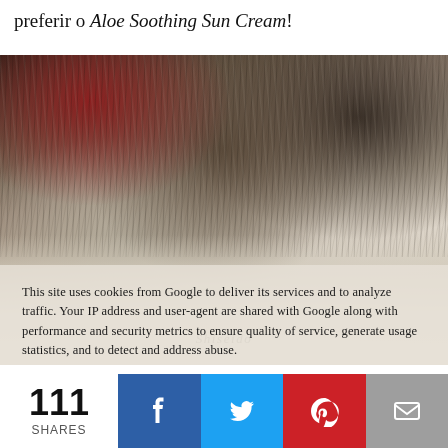preferir o Aloe Soothing Sun Cream!
[Figure (photo): Close-up photograph of a cat's fur with dark and light tones, partially overlaid with a semi-transparent cookie consent notice. Bottom portion shows a product (Shiseido sunscreen) against a light background.]
This site uses cookies from Google to deliver its services and to analyze traffic. Your IP address and user-agent are shared with Google along with performance and security metrics to ensure quality of service, generate usage statistics, and to detect and address abuse.
111 SHARES  [Facebook] [Twitter] [Pinterest] [Email]